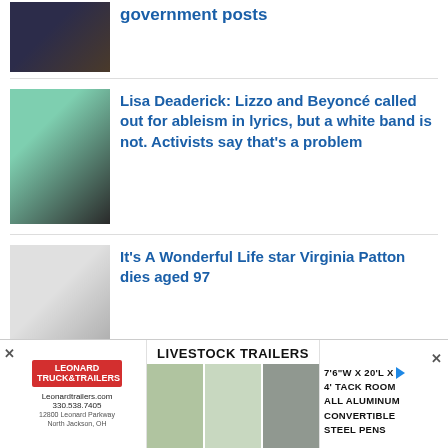[Figure (photo): Partial news article thumbnail - two people at an event]
government posts
[Figure (photo): Lizzo in a green dress at an awards show]
Lisa Deaderick: Lizzo and Beyoncé called out for ableism in lyrics, but a white band is not. Activists say that's a problem
[Figure (photo): Black and white portrait of Virginia Patton]
It's A Wonderful Life star Virginia Patton dies aged 97
[Figure (photo): People at a protest with a megaphone]
U.S. clinics scramble as courts, politicians battle over abortion restrictions
[Figure (photo): Leonard Truck and Trailers advertisement showing livestock trailers]